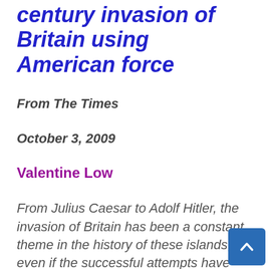century invasion of Britain using American force
From The Times
October 3, 2009
Valentine Low
From Julius Caesar to Adolf Hitler, the invasion of Britain has been a constant theme in the history of these islands, even if the successful attempts have been heavily